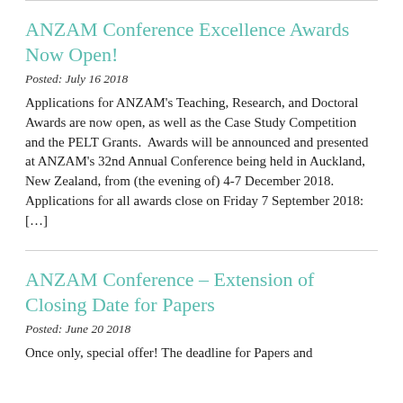ANZAM Conference Excellence Awards Now Open!
Posted: July 16 2018
Applications for ANZAM’s Teaching, Research, and Doctoral Awards are now open, as well as the Case Study Competition and the PELT Grants.  Awards will be announced and presented at ANZAM’s 32nd Annual Conference being held in Auckland, New Zealand, from (the evening of) 4-7 December 2018. Applications for all awards close on Friday 7 September 2018: […]
ANZAM Conference – Extension of Closing Date for Papers
Posted: June 20 2018
Once only, special offer! The deadline for Papers and